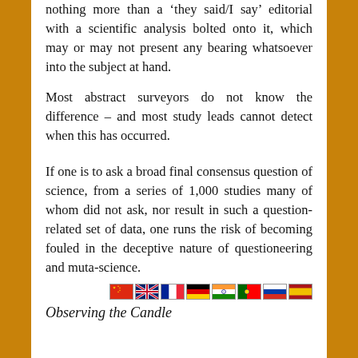nothing more than a ‘they said/I say’ editorial with a scientific analysis bolted onto it, which may or may not present any bearing whatsoever into the subject at hand.
Most abstract surveyors do not know the difference – and most study leads cannot detect when this has occurred.
If one is to ask a broad final consensus question of science, from a series of 1,000 studies many of whom did not ask, nor result in such a question-related set of data, one runs the risk of becoming fouled in the deceptive nature of questioneering and muta-science.
[Figure (illustration): Row of national flags: China, UK, France, Germany, India, Portugal, Russia, Spain]
Observing the Candle